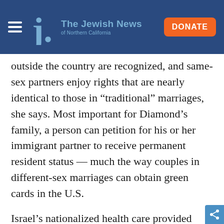The Jewish News of Northern California
outside the country are recognized, and same-sex partners enjoy rights that are nearly identical to those in “traditional” marriages, she says. Most important for Diamond’s family, a person can petition for his or her immigrant partner to receive permanent resident status — much the way couples in different-sex marriages can obtain green cards in the U.S.
Israel’s nationalized health care provided fertility treatments for the couple, and they benefited from a 2005 decision by the Supreme Court allowing same-sex parents to apply to adopt their partner’s